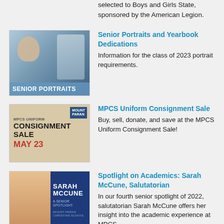selected to Boys and Girls State, sponsored by the American Legion.
[Figure (photo): Senior Portraits promotional image showing a student with camera, with overlay text 'SENIOR PORTRAITS']
Senior Portraits and Yearbook Dedications
Information for the class of 2023 portrait requirements.
[Figure (photo): MPCS Uniform Consignment Sale flyer showing clothing items, text 'MPCS UNIFORM CONSIGNMENT SALE MAY 23']
MPCS Uniform Consignment Sale
Buy, sell, donate, and save at the MPCS Uniform Consignment Sale!
[Figure (photo): Photo of Sarah McCune with name text on blue background - Salutatorian spotlight]
Spotlight on Academics: Sarah McCune, Salutatorian
In our fourth senior spotlight of 2022, salutatorian Sarah McCune offers her insight into the academic experience at MPCS.
[Figure (photo): Group photo of faculty members]
Faculty Finish "The Complete Reading Series" Training
The Complete Reading Series is a